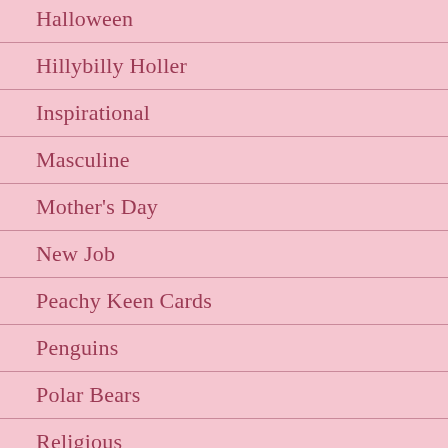Halloween
Hillybilly Holler
Inspirational
Masculine
Mother's Day
New Job
Peachy Keen Cards
Penguins
Polar Bears
Religious
Retirement
Snowman